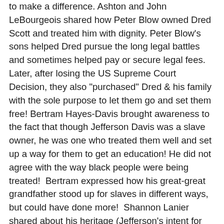to make a difference. Ashton and John LeBourgeois shared how Peter Blow owned Dred Scott and treated him with dignity. Peter Blow's sons helped Dred pursue the long legal battles and sometimes helped pay or secure legal fees. Later, after losing the US Supreme Court Decision, they also "purchased" Dred & his family with the sole purpose to let them go and set them free! Bertram Hayes-Davis brought awareness to the fact that though Jefferson Davis was a slave owner, he was one who treated them well and set up a way for them to get an education! He did not agree with the way black people were being treated!  Bertram expressed how his great-great grandfather stood up for slaves in different ways, but could have done more!  Shannon Lanier shared about his heritage (Jefferson's intent for the Declaration of Independence) and his intention to be a positive influence in our society! He is co-author of the Random House book "Jefferson's Children: The Story of One American Family." Lanier, along with photo-journalist Jane Feldman, wrote the book to reveal mysteries behind the controversial Jefferson